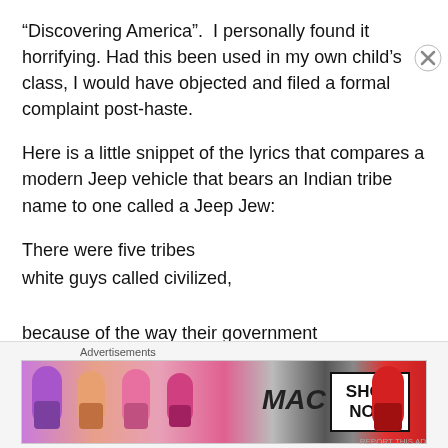“Discovering America”.  I personally found it horrifying. Had this been used in my own child’s class, I would have objected and filed a formal complaint post-haste.
Here is a little snippet of the lyrics that compares a modern Jeep vehicle that bears an Indian tribe name to one called a Jeep Jew:
There were five tribes
white guys called civilized,
because of the way their government
was organized:
Cherokee, Choctaw, Chickasaw,
Seminole, and Creek.
[Figure (photo): Advertisement banner for MAC cosmetics showing lipsticks in purple, pink, and red tones with a 'SHOP NOW' button in a black bordered box. Labeled 'Advertisements' above.]